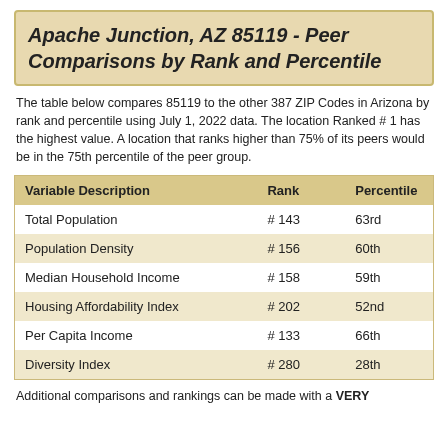Apache Junction, AZ 85119 - Peer Comparisons by Rank and Percentile
The table below compares 85119 to the other 387 ZIP Codes in Arizona by rank and percentile using July 1, 2022 data. The location Ranked # 1 has the highest value. A location that ranks higher than 75% of its peers would be in the 75th percentile of the peer group.
| Variable Description | Rank | Percentile |
| --- | --- | --- |
| Total Population | # 143 | 63rd |
| Population Density | # 156 | 60th |
| Median Household Income | # 158 | 59th |
| Housing Affordability Index | # 202 | 52nd |
| Per Capita Income | # 133 | 66th |
| Diversity Index | # 280 | 28th |
Additional comparisons and rankings can be made with a VERY